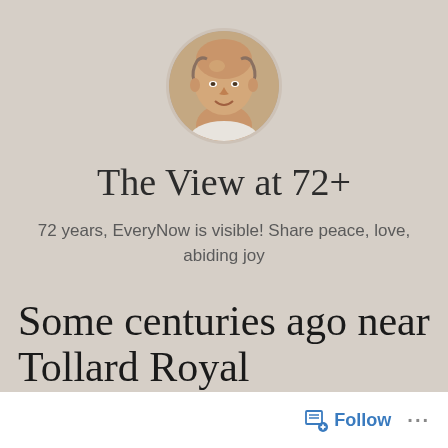[Figure (photo): Circular profile photo of a bald middle-aged man smiling, with a light background]
The View at 72+
72 years, EveryNow is visible! Share peace, love, abiding joy
Some centuries ago near Tollard Royal
Follow